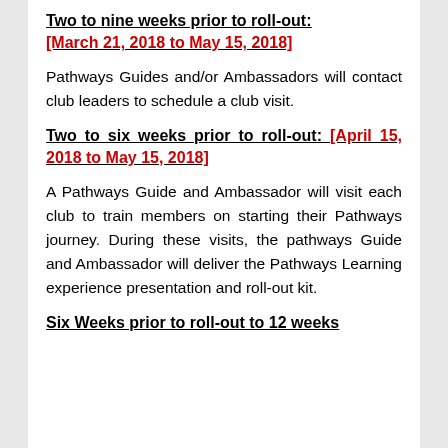Two to nine weeks prior to roll-out: [March 21, 2018 to May 15, 2018]
Pathways Guides and/or Ambassadors will contact club leaders to schedule a club visit.
Two to six weeks prior to roll-out: [April 15, 2018 to May 15, 2018]
A Pathways Guide and Ambassador will visit each club to train members on starting their Pathways journey. During these visits, the pathways Guide and Ambassador will deliver the Pathways Learning experience presentation and roll-out kit.
Six Weeks prior to roll-out to 12 weeks